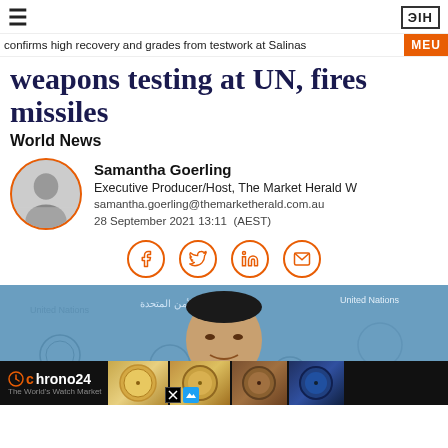≡  ЭIH
confirms high recovery and grades from testwork at Salinas  MEU
weapons testing at UN, fires missiles
World News
Samantha Goerling
Executive Producer/Host, The Market Herald W
samantha.goerling@themarketherald.com.au
28 September 2021 13:11  (AEST)
[Figure (illustration): Social share icons: Facebook, Twitter, LinkedIn, Email — circular orange-bordered buttons]
[Figure (photo): Photo of an East Asian man at a United Nations press conference backdrop with UN logos and Arabic/English text. Below is a chrono24 advertisement banner with watch thumbnails.]